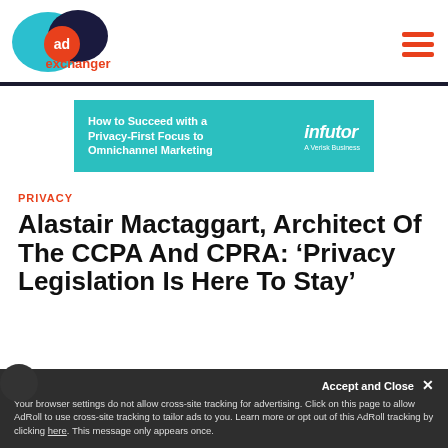[Figure (logo): AdExchanger logo with teal and navy overlapping circles and orange 'ad' badge]
[Figure (other): Hamburger menu icon (three orange horizontal bars)]
[Figure (other): Infutor advertisement banner: teal background, 'How to Succeed with a Privacy-First Focus to Omnichannel Marketing' with Infutor - A Verisk Business logo]
PRIVACY
Alastair Mactaggart, Architect Of The CCPA And CPRA: ‘Privacy Legislation Is Here To Stay’
Accept and Close ×
Your browser settings do not allow cross-site tracking for advertising. Click on this page to allow AdRoll to use cross-site tracking to tailor ads to you. Learn more or opt out of this AdRoll tracking by clicking here. This message only appears once.